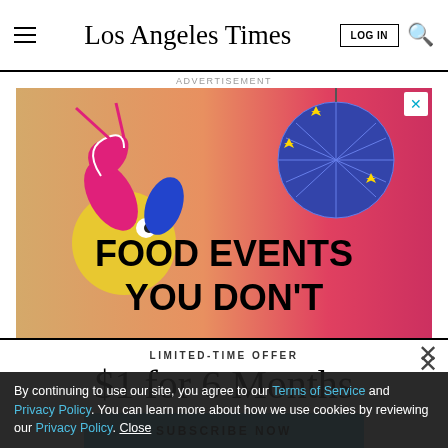Los Angeles Times
ADVERTISEMENT
[Figure (illustration): Advertisement banner for food events featuring colorful illustrated fish/shrimp character and disco ball on gradient background, text: FOOD EVENTS YOU DON'T]
LIMITED-TIME OFFER
$1 for 6 Months
SUBSCRIBE NOW
By continuing to use our site, you agree to our Terms of Service and Privacy Policy. You can learn more about how we use cookies by reviewing our Privacy Policy. Close